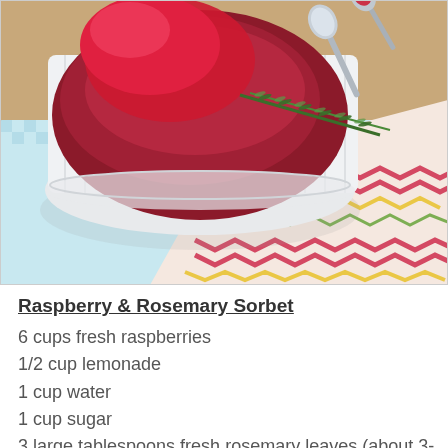[Figure (photo): Close-up photograph of a white ramekin dish containing raspberry and rosemary sorbet with a spoon, placed on colorful patterned fabric napkins on a wooden surface]
Raspberry & Rosemary Sorbet
6 cups fresh raspberries
1/2 cup lemonade
1 cup water
1 cup sugar
3 large tablespoons fresh rosemary leaves (about 3-4 sprigs)